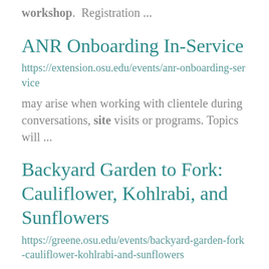workshop. Registration ...
ANR Onboarding In-Service
https://extension.osu.edu/events/anr-onboarding-service
may arise when working with clientele during conversations, site visits or programs. Topics will ...
Backyard Garden to Fork: Cauliflower, Kohlrabi, and Sunflowers
https://greene.osu.edu/events/backyard-garden-fork-cauliflower-kohlrabi-and-sunflowers
cauliflower different from other